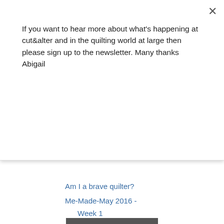If you want to hear more about what's happening at cut&alter and in the quilting world at large then please sign up to the newsletter. Many thanks Abigail
Subscribe
Am I a brave quilter?
Me-Made-May 2016 - Week 1
A feather ruff anyone?
May is for Makers
April in review ....
► April (11)
► March (6)
► February (17)
► January (12)
► 2015 (60)
Due to the fact that I s more excited about di